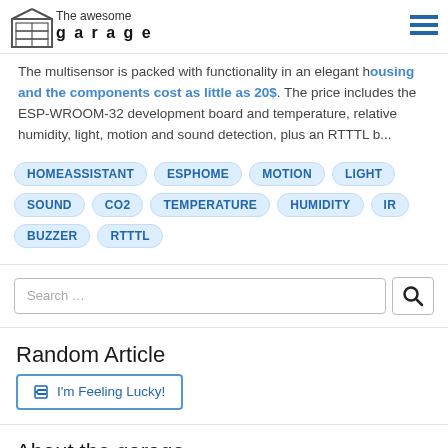The awesome garage
The multisensor is packed with functionality in an elegant housing and the components cost as little as 20$. The price includes the ESP-WROOM-32 development board and temperature, relative humidity, light, motion and sound detection, plus an RTTTL b...
HOMEASSISTANT
ESPHOME
MOTION
LIGHT
SOUND
CO2
TEMPERATURE
HUMIDITY
IR
BUZZER
RTTTL
Random Article
I'm Feeling Lucky!
About the garage
The place to build, repair and code stuff. Or for taking a break.